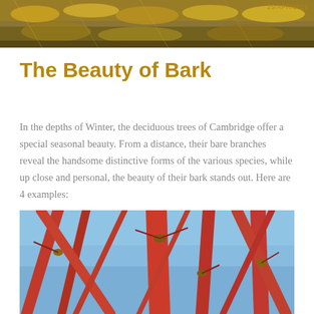[Figure (photo): Autumn leaves on a forest floor, golden-yellow foliage, dated 25/APR/2019]
The Beauty of Bark
In the depths of Winter, the deciduous trees of Cambridge offer a special seasonal beauty. From a distance, their bare branches reveal the handsome distinctive forms of the various species, while up close and personal, the beauty of their bark stands out. Here are 4 examples:
[Figure (photo): Close-up photo of bright red/crimson stems or branches of a tree against a blue sky background]